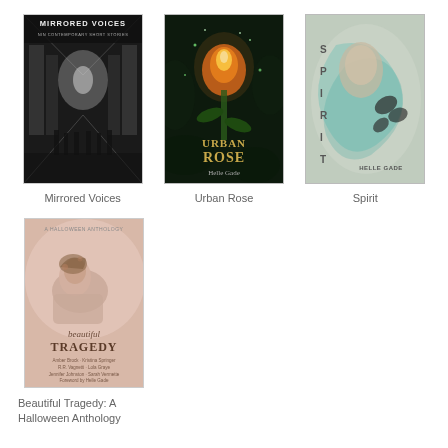[Figure (illustration): Book cover grid showing 4 book covers: Mirrored Voices (black and white hallway photo), Urban Rose (dark green cover with glowing rose by Helle Gade), Spirit (grey/teal mystical cover by Helle Gade), and Beautiful Tragedy: A Halloween Anthology (soft pink cover with reclining figure)]
Mirrored Voices
Urban Rose
Spirit
Beautiful Tragedy: A Halloween Anthology